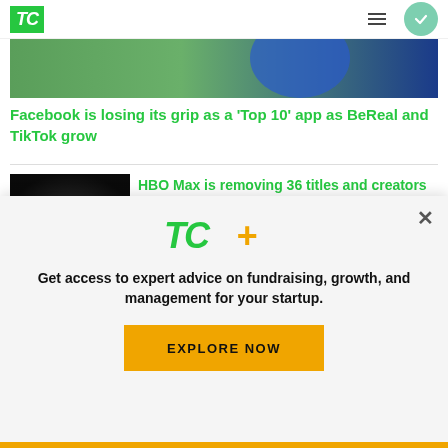TechCrunch
[Figure (photo): Partial view of a phone or app icon with blue and green colors]
Facebook is losing its grip as a 'Top 10' app as BeReal and TikTok grow
[Figure (photo): HBO Max logo on dark textured background]
HBO Max is removing 36 titles and creators are not happy
[Figure (screenshot): Dark thumbnail for Apple article]
Apple releases iOS, iPadOS and
[Figure (logo): TechCrunch TC+ logo with green TC and orange plus sign]
Get access to expert advice on fundraising, growth, and management for your startup.
EXPLORE NOW